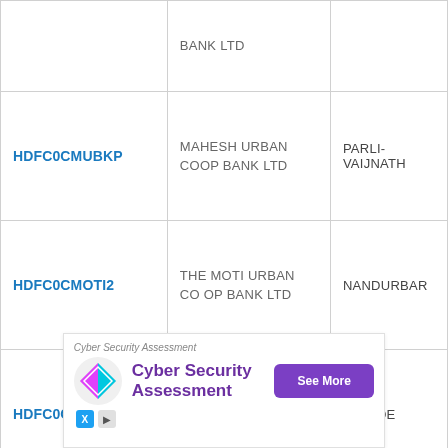| IFSC Code | Bank Name | Branch |
| --- | --- | --- |
|  | BANK LTD |  |
| HDFC0CMUBKP | MAHESH URBAN COOP BANK LTD | PARLI-VAIJNATH |
| HDFC0CMOTI2 | THE MOTI URBAN CO OP BANK LTD | NANDURBAR |
| HDFC0CMOTI1 | THE MOTI URBAN CO OP BANK LTD | TALODE |
| HDFC0CMOHOL | MOHOL URBAN CO-OP BANK LTD MOHOL | MOHOL |
[Figure (infographic): Advertisement banner for Cyber Security Assessment with logo, title text, and See More button]